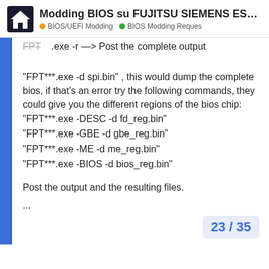Modding BIOS su FUJITSU SIEMENS ESP... | BIOS/UEFI Modding | BIOS Modding Reques
FPT***.exe -d spi.bin" , this would dump the complete bios, if that's an error try the following commands, they could give you the different regions of the bios chip:
"FPT***.exe -DESC -d fd_reg.bin"
"FPT***.exe -GBE -d gbe_reg.bin"
"FPT***.exe -ME -d me_reg.bin"
"FPT***.exe -BIOS -d bios_reg.bin"

Post the output and the resulting files.
23 / 35